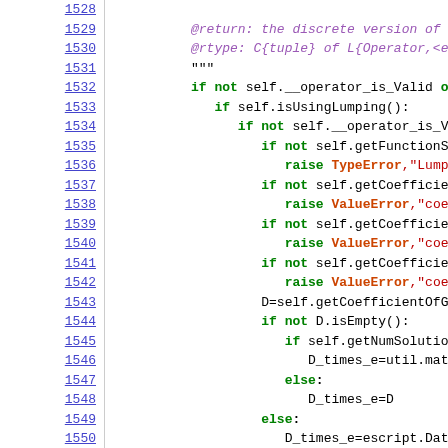[Figure (screenshot): Source code listing showing Python code with line numbers 1528-1550. Code includes docstring comments, if/else blocks, raise statements with TypeError and ValueError, and method calls on self object.]